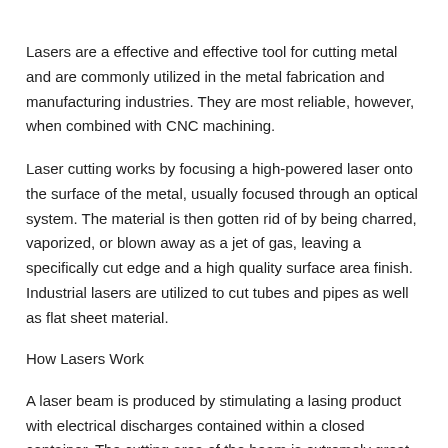Lasers are a effective and effective tool for cutting metal and are commonly utilized in the metal fabrication and manufacturing industries. They are most reliable, however, when combined with CNC machining.
Laser cutting works by focusing a high-powered laser onto the surface of the metal, usually focused through an optical system. The material is then gotten rid of by being charred, vaporized, or blown away as a jet of gas, leaving a specifically cut edge and a high quality surface area finish. Industrial lasers are utilized to cut tubes and pipes as well as flat sheet material.
How Lasers Work
A laser beam is produced by stimulating a lasing product with electrical discharges contained within a closed container. The cutting area of the beam is extremely great, generally less them 0.32 mm in size